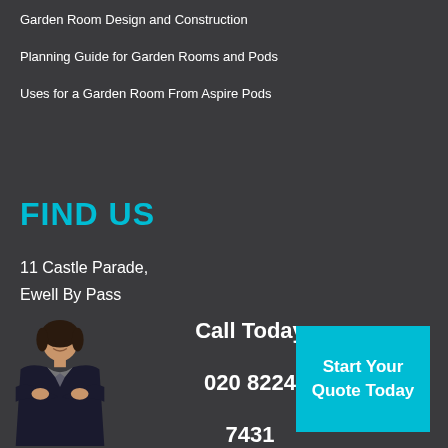Garden Room Design and Construction
Planning Guide for Garden Rooms and Pods
Uses for a Garden Room From Aspire Pods
FIND US
11 Castle Parade,
Ewell By Pass
Call Today
020 8224
7431
[Figure (photo): Woman in business attire with arms crossed, customer service representative]
Start Your Quote Today